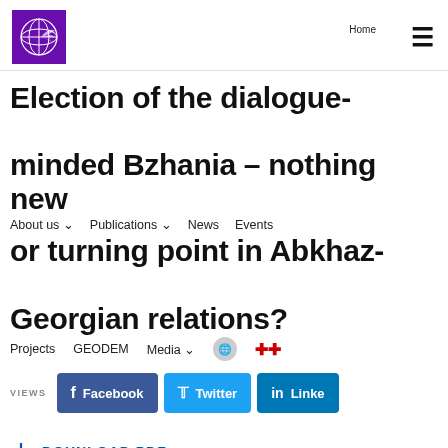[Figure (logo): GIP logo - purple square with globe/grid icon]
Home   About us   Publications   News   Events   Projects   GEODEM   Media
Election of the dialogue-minded Bzhania – nothing new or turning point in Abkhaz-Georgian relations?
VIEWS  Facebook  Twitter  LinkedIn
DOUNLOAD PDF